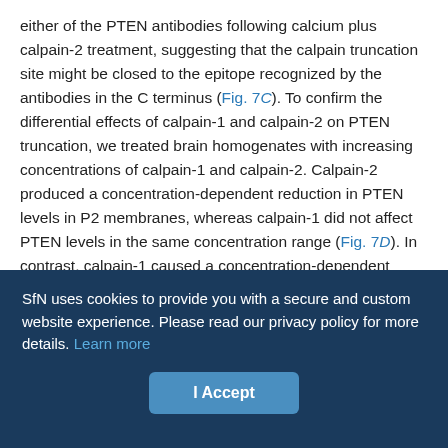either of the PTEN antibodies following calcium plus calpain-2 treatment, suggesting that the calpain truncation site might be closed to the epitope recognized by the antibodies in the C terminus (Fig. 7C). To confirm the differential effects of calpain-1 and calpain-2 on PTEN truncation, we treated brain homogenates with increasing concentrations of calpain-1 and calpain-2. Calpain-2 produced a concentration-dependent reduction in PTEN levels in P2 membranes, whereas calpain-1 did not affect PTEN levels in the same concentration range (Fig. 7D). In contrast, calpain-1 caused a concentration-dependent reduction of both hamartin and tuberin (data not shown).

We further tested the effects of calpain-1 and calpain-2 on purified
SfN uses cookies to provide you with a secure and custom website experience. Please read our privacy policy for more details. Learn more